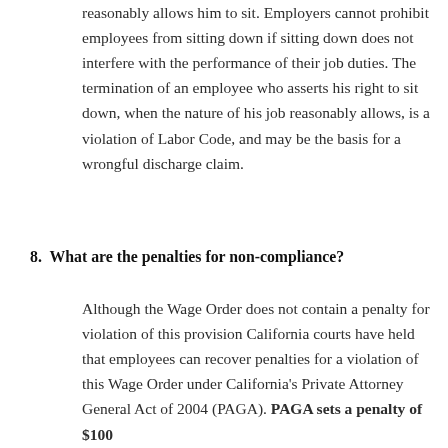reasonably allows him to sit. Employers cannot prohibit employees from sitting down if sitting down does not interfere with the performance of their job duties. The termination of an employee who asserts his right to sit down, when the nature of his job reasonably allows, is a violation of Labor Code, and may be the basis for a wrongful discharge claim.
8. What are the penalties for non-compliance?
Although the Wage Order does not contain a penalty for violation of this provision California courts have held that employees can recover penalties for a violation of this Wage Order under California's Private Attorney General Act of 2004 (PAGA). PAGA sets a penalty of $100